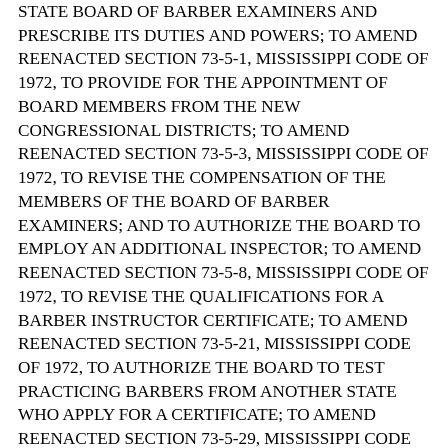STATE BOARD OF BARBER EXAMINERS AND PRESCRIBE ITS DUTIES AND POWERS; TO AMEND REENACTED SECTION 73-5-1, MISSISSIPPI CODE OF 1972, TO PROVIDE FOR THE APPOINTMENT OF BOARD MEMBERS FROM THE NEW CONGRESSIONAL DISTRICTS; TO AMEND REENACTED SECTION 73-5-3, MISSISSIPPI CODE OF 1972, TO REVISE THE COMPENSATION OF THE MEMBERS OF THE BOARD OF BARBER EXAMINERS; AND TO AUTHORIZE THE BOARD TO EMPLOY AN ADDITIONAL INSPECTOR; TO AMEND REENACTED SECTION 73-5-8, MISSISSIPPI CODE OF 1972, TO REVISE THE QUALIFICATIONS FOR A BARBER INSTRUCTOR CERTIFICATE; TO AMEND REENACTED SECTION 73-5-21, MISSISSIPPI CODE OF 1972, TO AUTHORIZE THE BOARD TO TEST PRACTICING BARBERS FROM ANOTHER STATE WHO APPLY FOR A CERTIFICATE; TO AMEND REENACTED SECTION 73-5-29, MISSISSIPPI CODE OF 1972, TO REVISE THE FEES FOR EXAMINATION, CERTIFICATE AND RENEWAL; TO AMEND REENACTED SECTION 73-5-33, MISSISSIPPI CODE OF 1972, TO REVISE THE FEE FOR EACH CHAIR MANNED BY A REGISTERED BARBER IN A SHOP; TO AMEND REENACTED SECTION 73-5-35, MISSISSIPPI CODE OF 1972, TO REVISE THE ANNUAL LICENSE FEES IMPOSED ON ALL BARBER SCHOOLS; TO AMEND SECTION 73-5-45, MISSISSIPPI CODE OF 1972, TO